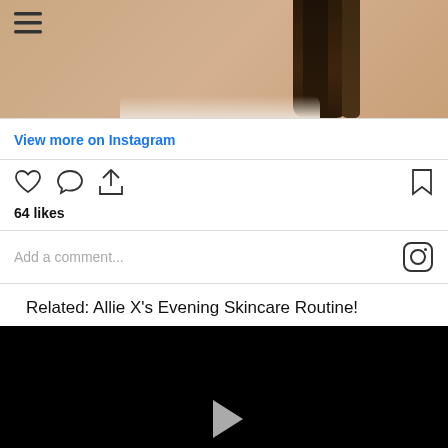[Figure (photo): Instagram post photo showing back of a person with long dark hair wearing a strapless top, against a light background. Hamburger menu icon visible in top left.]
View more on Instagram
[Figure (infographic): Instagram action icons: heart (like), speech bubble (comment), share arrow on the left; bookmark icon on the right.]
64 likes
Add a comment...
Related: Allie X's Evening Skincare Routine!
[Figure (screenshot): Black video thumbnail with a triangular play button in the center, for a video titled 'Allie X's Evening Skincare Routine!']